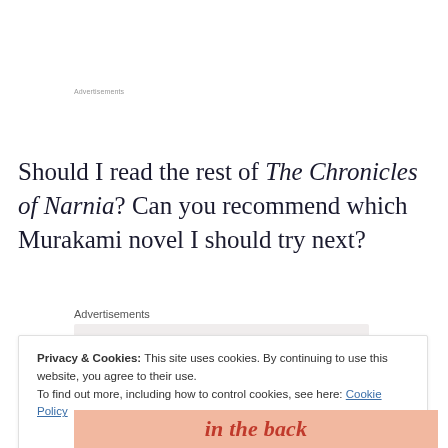Advertisements
Should I read the rest of The Chronicles of Narnia? Can you recommend which Murakami novel I should try next?
Advertisements
Privacy & Cookies: This site uses cookies. By continuing to use this website, you agree to their use.
To find out more, including how to control cookies, see here: Cookie Policy
Close and accept
[Figure (photo): Partial image showing text 'in the back' in italic red font on a pink/salmon background]